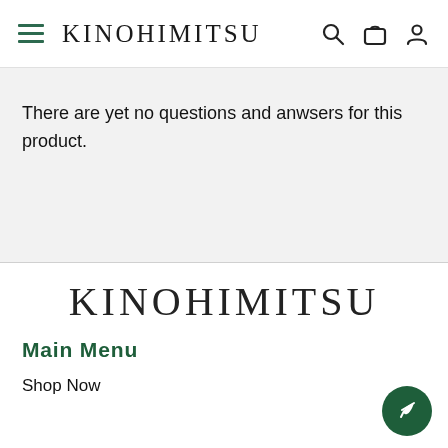KINOHIMITSU
There are yet no questions and anwsers for this product.
[Figure (logo): Kinohimitsu brand logo in large serif uppercase text]
Main Menu
Shop Now